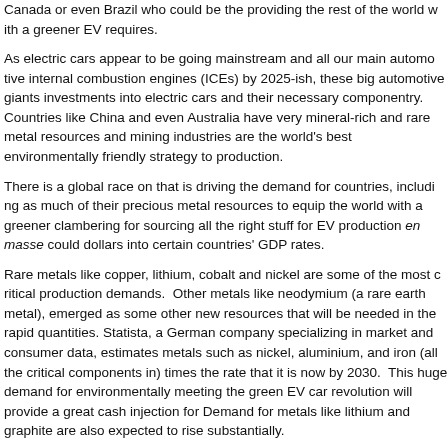Canada or even Brazil who could be the providing the rest of the world with a greener EV requires.
As electric cars appear to be going mainstream and all our main automotive internal combustion engines (ICEs) by 2025-ish, these big automotive giants investments into electric cars and their necessary componentry. Countries like China and even Australia have very mineral-rich and rare metal resources and mining industries are the world's best environmentally friendly strategy to production.
There is a global race on that is driving the demand for countries, including as much of their precious metal resources to equip the world with a greener clambering for sourcing all the right stuff for EV production en masse could dollars into certain countries' GDP rates.
Rare metals like copper, lithium, cobalt and nickel are some of the most critical production demands. Other metals like neodymium (a rare earth metal), emerged as some other new resources that will be needed in the rapid quantities. Statista, a German company specializing in market and consumer data, estimates metals such as nickel, aluminium, and iron (all the critical components in) times the rate that it is now by 2030. This huge demand for environmentally meeting the green EV car revolution will provide a great cash injection for Demand for metals like lithium and graphite are also expected to rise substantially.